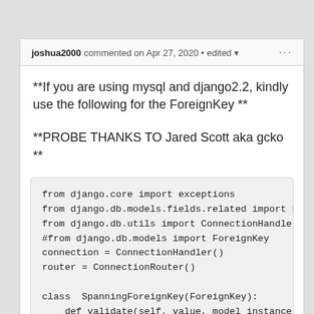joshua2000 commented on Apr 27, 2020 • edited
**If you are using mysql and django2.2, kindly use the following for the ForeignKey **
**PROBE THANKS TO Jared Scott aka gcko **
[Figure (screenshot): Code block showing Python imports and class definition: from django.core import exceptions, from django.db.models.fields.related import ForeignK..., from django.db.utils import ConnectionHandler, Conn..., #from django.db.models import ForeignKey, connection = ConnectionHandler(), router = ConnectionRouter(), class SpanningForeignKey(ForeignKey):, def validate(self, value, model_instance):, if self.remote_field.parent_link:, return, # Call the grandparent rather than the pare..., super(ForeignKey, self).validate(value, mod...]